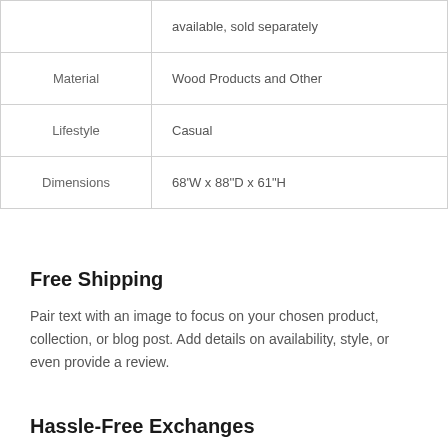|  | available, sold separately |
| Material | Wood Products and Other |
| Lifestyle | Casual |
| Dimensions | 68'W x 88''D x 61"H |
Free Shipping
Pair text with an image to focus on your chosen product, collection, or blog post. Add details on availability, style, or even provide a review.
Hassle-Free Exchanges